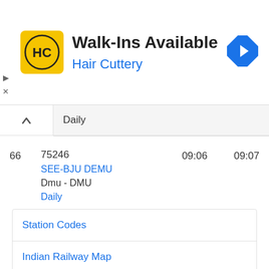[Figure (logo): Hair Cuttery advertisement banner with yellow HC logo, 'Walk-Ins Available' heading, 'Hair Cuttery' subtitle in blue, and a blue diamond navigation icon]
Daily
66   75246   09:06   09:07
SEE-BJU DEMU
Dmu - DMU
Daily
Station Codes
Indian Railway Map
Train Coach Position